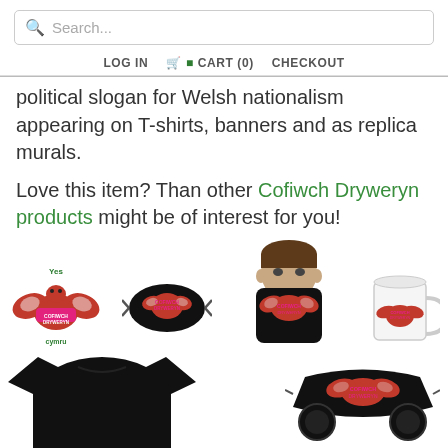Search... | LOG IN | CART (0) | CHECKOUT
political slogan for Welsh nationalism appearing on T-shirts, banners and as replica murals.
Love this item? Than other Cofiwch Dryweryn products might be of interest for you!
[Figure (photo): Row of product images: sticker with dragon and 'Yes Cymru / Cofiwch Dryweryn', face mask with dragon design, man wearing neck gaiter mask, white mug with dragon design. Below: black t-shirt and black sports mask with dragon design.]